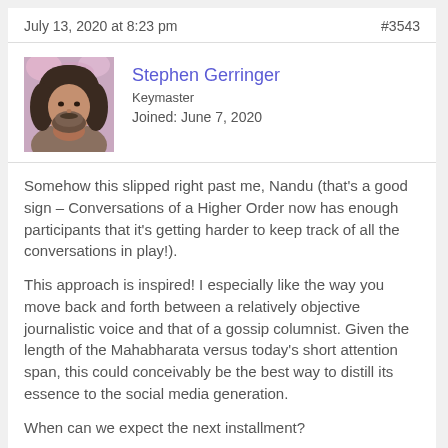July 13, 2020 at 8:23 pm   #3543
Stephen Gerringer
Keymaster
Joined: June 7, 2020
[Figure (photo): Profile photo of Stephen Gerringer, a man with long curly dark hair and a beard, wearing a jacket, with pink flowers in the background.]
Somehow this slipped right past me, Nandu (that's a good sign – Conversations of a Higher Order now has enough participants that it's getting harder to keep track of all the conversations in play!).
This approach is inspired! I especially like the way you move back and forth between a relatively objective journalistic voice and that of a gossip columnist. Given the length of the Mahabharata versus today's short attention span, this could conceivably be the best way to distill its essence to the social media generation.
When can we expect the next installment?
Stephen Gerringer
tie-dyed teller of tales